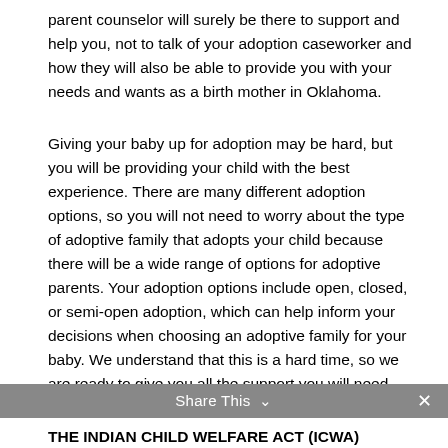parent counselor will surely be there to support and help you, not to talk of your adoption caseworker and how they will also be able to provide you with your needs and wants as a birth mother in Oklahoma.
Giving your baby up for adoption may be hard, but you will be providing your child with the best experience. There are many different adoption options, so you will not need to worry about the type of adoptive family that adopts your child because there will be a wide range of options for adoptive parents. Your adoption options include open, closed, or semi-open adoption, which can help inform your decisions when choosing an adoptive family for your baby. We understand that this is a hard time, so we are ready to give you all the support you will need.
Share This ∨   ✕
THE INDIAN CHILD WELFARE ACT (ICWA)